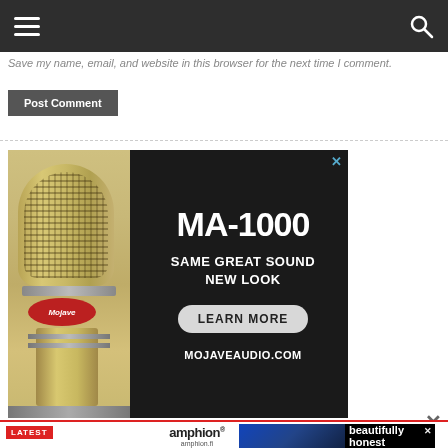Navigation bar with hamburger menu and search icon
Save my name, email, and website in this browser for the next time I comment.
Post Comment
[Figure (illustration): Advertisement for Mojave Audio MA-1000 microphone. Shows a large condenser microphone on dark background with text: MA-1000, SAME GREAT SOUND NEW LOOK, LEARN MORE button, MOJAVEAUDIO.COM]
[Figure (illustration): Advertisement bar for Amphion speakers showing logo, speaker image, and text 'beautifully honest'. Also shows website amphion.fi]